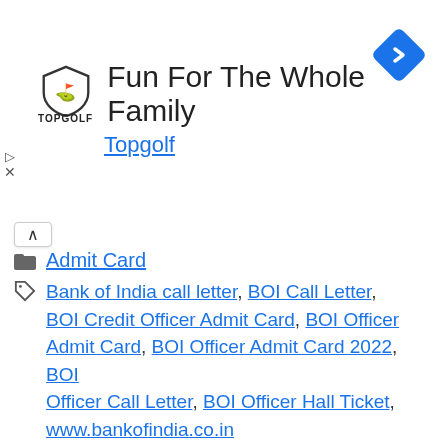[Figure (infographic): Topgolf advertisement banner with shield logo, title 'Fun For The Whole Family', subtitle 'Topgolf', and a blue navigation arrow icon on the right.]
Admit Card
Bank of India call letter, BOI Call Letter, BOI Credit Officer Admit Card, BOI Officer Admit Card, BOI Officer Admit Card 2022, BOI Officer Call Letter, BOI Officer Hall Ticket, www.bankofindia.co.in
BOM Generalist Officer Result 2022 – Check Scale II & III Merit List Here
JK Police Sub Inspector Result 2022 Pdf Out-JKSSb SI Merit Selection List